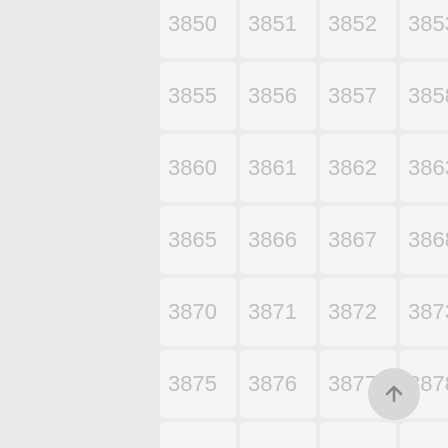[Figure (other): Grid of numbered cells from 3850 to 3904 arranged in 5 columns and 12 rows, each cell showing a gray number on a light background with rounded corners. A floating action button with an upward arrow is visible in the bottom-right area.]